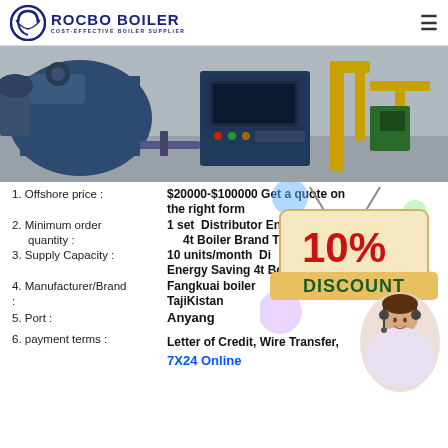[Figure (logo): Rocbo Boiler logo with circular C graphic and text ROCBO BOILER, COST-EFFECTIVE BOILER SUPPLIER]
[Figure (photo): Industrial boiler equipment photo showing blue machinery, control panel with buttons, and yellow pipes in a factory setting]
1. Offshore price : $20000-$100000 Get a quote on the right form
2. Minimum order quantity : 1 set Distributor Energy 4t Boiler Brand Tajikistan
3. Supply Capacity : 10 units/month Distributor Energy Saving 4t Boiler
4. Manufacturer/Brand : Fangkuai boiler TajiKistan
5. Port : Anyang
[Figure (infographic): 10% DISCOUNT promotional overlay with a customer service representative photo]
6. payment terms : Letter of Credit, Wire Transfer, 7X24 Online